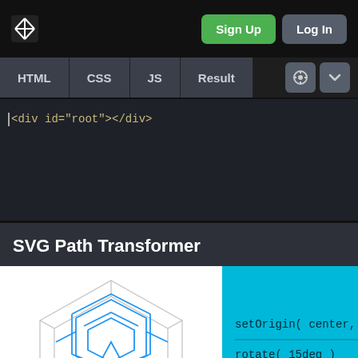[Figure (screenshot): CodePen-style web editor interface showing HTML/CSS/JS/Result tabs, a code editor with <div id='root'></div>, and a preview of 'SVG Path Transformer' with a geometric SVG graphic and blue panel showing setOrigin(center, ce... and rotate(15deg) code snippets.]